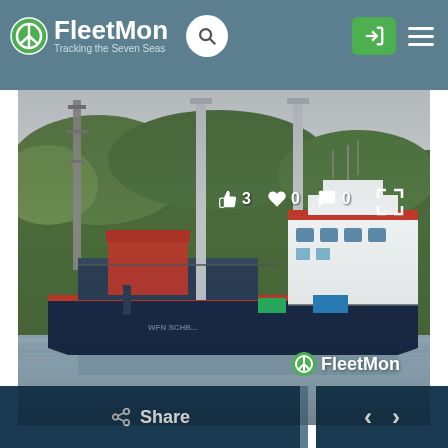FleetMon — Tracking the Seven Seas
[Figure (photo): A dredging or crane vessel named on the hull, photographed on a canal or river. The ship is dark-hulled with white superstructure, tall cranes/masts, and red accents. Green trees line the background. FleetMon watermark visible in lower-right corner. Social interaction icons (thumbs up: 3, heart: 0, comment: 0) overlay the top of the image.]
Share
< >